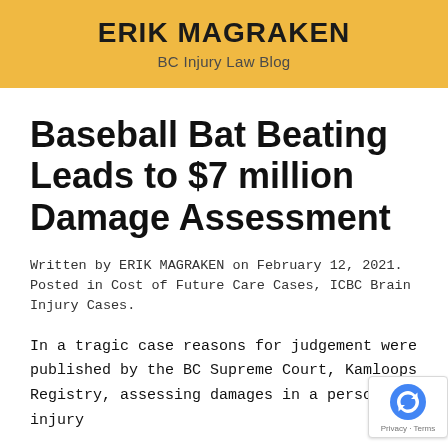ERIK MAGRAKEN
BC Injury Law Blog
Baseball Bat Beating Leads to $7 million Damage Assessment
Written by ERIK MAGRAKEN on February 12, 2021. Posted in Cost of Future Care Cases, ICBC Brain Injury Cases.
In a tragic case reasons for judgement were published by the BC Supreme Court, Kamloops Registry, assessing damages in a personal injury